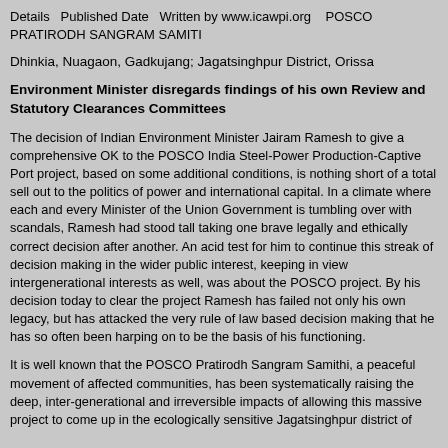Details  Published Date  Written by www.icawpi.org   POSCO PRATIRODH SANGRAM SAMITI
Dhinkia, Nuagaon, Gadkujang; Jagatsinghpur District, Orissa
Environment Minister disregards findings of his own Review and Statutory Clearances Committees
The decision of Indian Environment Minister Jairam Ramesh to give a comprehensive OK to the POSCO India Steel-Power Production-Captive Port project, based on some additional conditions, is nothing short of a total sell out to the politics of power and international capital. In a climate where each and every Minister of the Union Government is tumbling over with scandals, Ramesh had stood tall taking one brave legally and ethically correct decision after another. An acid test for him to continue this streak of decision making in the wider public interest, keeping in view intergenerational interests as well, was about the POSCO project. By his decision today to clear the project Ramesh has failed not only his own legacy, but has attacked the very rule of law based decision making that he has so often been harping on to be the basis of his functioning.
It is well known that the POSCO Pratirodh Sangram Samithi, a peaceful movement of affected communities, has been systematically raising the deep, inter-generational and irreversible impacts of allowing this massive project to come up in the ecologically sensitive Jagatsinghpur district of